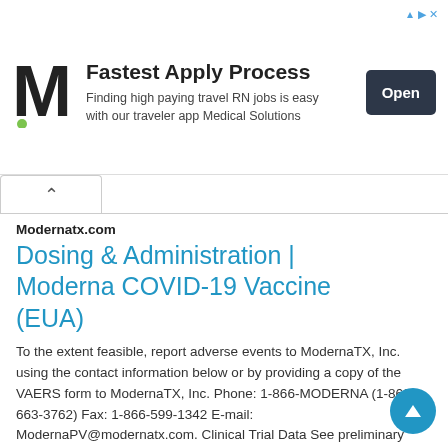[Figure (other): Advertisement banner with M logo, headline 'Fastest Apply Process', subtext 'Finding high paying travel RN jobs is easy with our traveler app Medical Solutions', and an 'Open' button]
Modernatx.com
Dosing & Administration | Moderna COVID-19 Vaccine (EUA)
To the extent feasible, report adverse events to ModernaTX, Inc. using the contact information below or by providing a copy of the VAERS form to ModernaTX, Inc. Phone: 1-866-MODERNA (1-866-663-3762) Fax: 1-866-599-1342 E-mail: ModernaPV@modernatx.com. Clinical Trial Data See preliminary clinical trial data . IMPORTANT SAFETY INFORMATION Contraindications. ...
Fue.modernatv.com